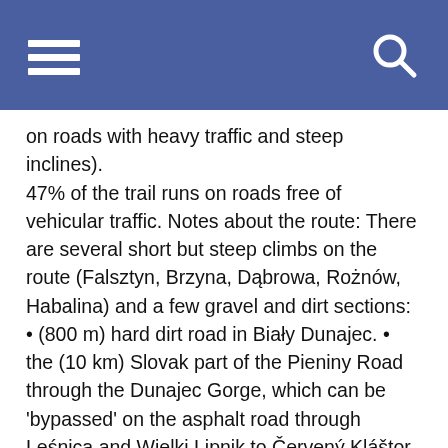[Hamburger menu icon] [Search icon]
on roads with heavy traffic and steep inclines). 47% of the trail runs on roads free of vehicular traffic. Notes about the route: There are several short but steep climbs on the route (Falsztyn, Brzyna, Dąbrowa, Rożnów, Habalina) and a few gravel and dirt sections: • (800 m) hard dirt road in Biały Dunajec. • the (10 km) Slovak part of the Pieniny Road through the Dunajec Gorge, which can be 'bypassed' on the asphalt road through Leśnica and Wielki Lipnik to Červený Kláštor, climb and descend to a brilliant
Our website uses cookie files. They are used to personalise the website for your needs. You can accept the use of cookies or disable them in your browser, so no information will be collected. Learn more about cookies in Privacy Policy
Accept